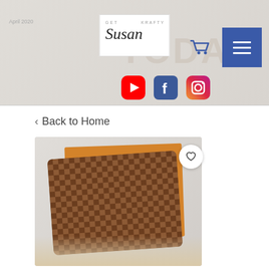[Figure (screenshot): Website header with GetKraftySusan logo, shopping cart icon, hamburger menu button, and social media icons for YouTube, Facebook, and Instagram on a light gray decorative background with 'TODAY' and 'CHAOS' watermark text]
< Back to Home
[Figure (photo): A brown checkerboard-patterned wallet or notebook cover (resembling Louis Vuitton Damier pattern) on orange packaging, held in hands. White heart/favorite button in top right corner of image.]